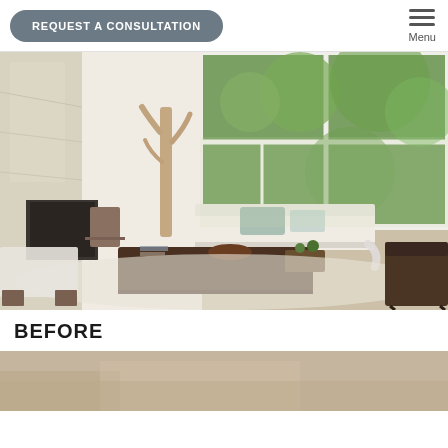REQUEST A CONSULTATION | Menu
[Figure (photo): Interior living room with large windows, white sofa, driftwood sculpture, dark wood coffee table, fireplace, and accent chairs on cream rug]
BEFORE
[Figure (photo): Partial view of another interior room photo at the bottom of the page]